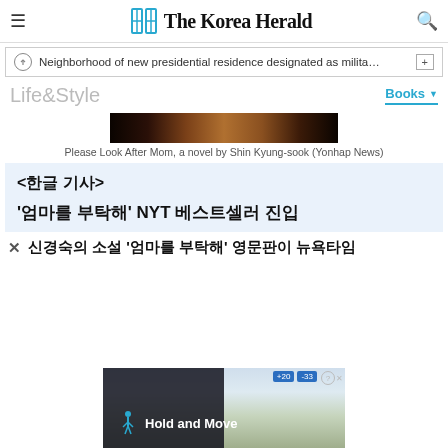The Korea Herald
Neighborhood of new presidential residence designated as milita…
Life&Style
[Figure (photo): Dark image showing the cover of the book 'Please Look After Mom']
Please Look After Mom, a novel by Shin Kyung-sook (Yonhap News)
<한글 기사>
'엄마를 부탁해' NYT 베스트셀러 진입
신경숙의 소설 '엄마를 부탁해' 영문판이 뉴욕타임
[Figure (screenshot): Advertisement overlay showing 'Hold and Move' app with walking figure icon]